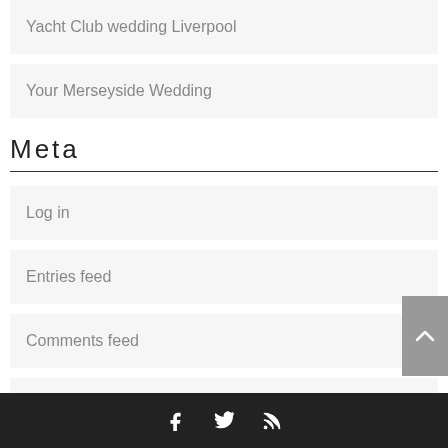Yacht Club wedding Liverpool
Your Merseyside Wedding
Meta
Log in
Entries feed
Comments feed
WordPress.org
Social icons: Facebook, Twitter, RSS